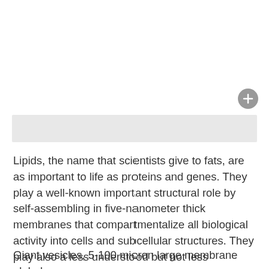[Figure (other): Gray rounded rectangle UI element with a gray circular plus button in the top-right corner]
Lipids, the name that scientists give to fats, are as important to life as proteins and genes. They play a well-known important structural role by self-assembling in five-nanometer thick membranes that compartmentalize all biological activity into cells and subcellular structures. They play also a less understood but not less important role as subtle regulators of metabolism through membrane organization.
Giant vesicles, 5-100 micron large membrane globules,